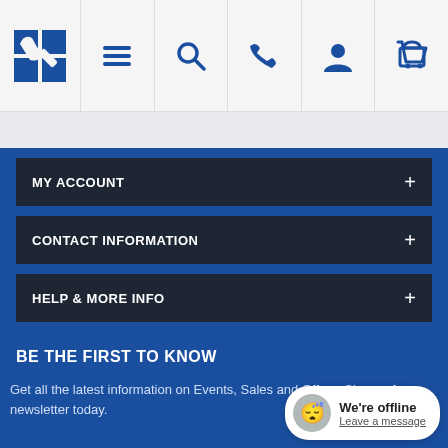[Figure (screenshot): Top navigation bar with logo, hamburger menu, search, phone, account, and cart icons]
MY ACCOUNT
CONTACT INFORMATION
HELP & MORE INFO
BE THE FIRST TO KNOW
[Figure (infographic): Tooltip popup showing Saturday Delivery countdown: 5h 54m 59s]
Get all the latest information on Events, Sales and Offers. Sign up for newsletter today.
We're offline
Leave a message